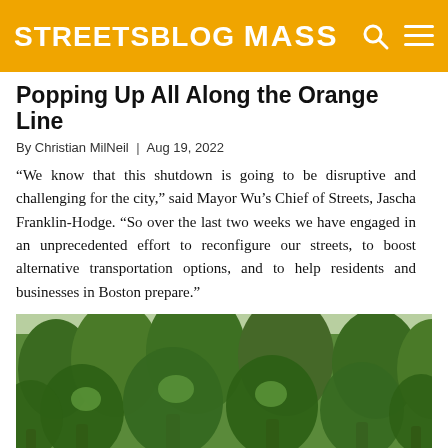STREETSBLOG MASS
Popping Up All Along the Orange Line
By Christian MilNeil | Aug 19, 2022
“We know that this shutdown is going to be disruptive and challenging for the city,” said Mayor Wu’s Chief of Streets, Jascha Franklin-Hodge. “So over the last two weeks we have engaged in an unprecedented effort to reconfigure our streets, to boost alternative transportation options, and to help residents and businesses in Boston prepare.”
[Figure (photo): A tree-lined boulevard or park with large green leafy trees in summer, likely in Boston near the Orange Line corridor.]